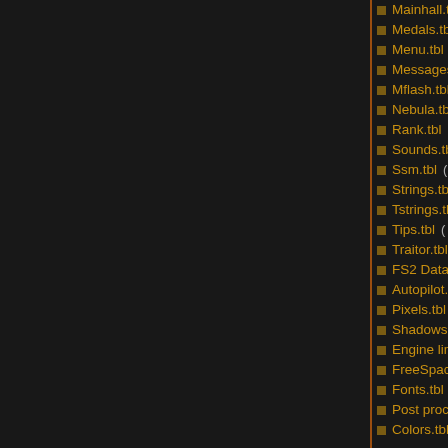Mainhall.tbl  (← links)
Medals.tbl  (← links)
Menu.tbl  (← links)
Messages.tbl  (← links)
Mflash.tbl  (← links)
Nebula.tbl  (← links)
Rank.tbl  (← links)
Sounds.tbl  (← links)
Ssm.tbl  (← links)
Strings.tbl  (← links)
Tstrings.tbl  (← links)
Tips.tbl  (← links)
Traitor.tbl  (← links)
FS2 Data Structure  (← links)
Autopilot.tbl  (← links)
Pixels.tbl  (← links)
Shadows of the Great War  (← links)
Engine limitations  (← links)
FreeSpace 1 intelligence entries  (← links)
Fonts.tbl  (← links)
Post processing.tbl  (← links)
Colors.tbl  (← links)